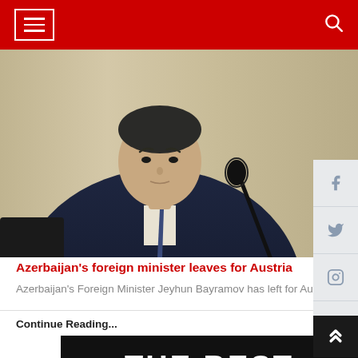Navigation bar with hamburger menu and search icon
[Figure (photo): Azerbaijan's Foreign Minister Jeyhun Bayramov seated at a table in a dark suit and tie, with a microphone in front, wooden panel background]
Azerbaijan's foreign minister leaves for Austria
Azerbaijan's Foreign Minister Jeyhun Bayramov has left for Austria on a working visit, the For (...)
Continue Reading...
[Figure (photo): THE BEST FIFA SPECIAL AWARD promotional image with dark background and trophy or award graphic]